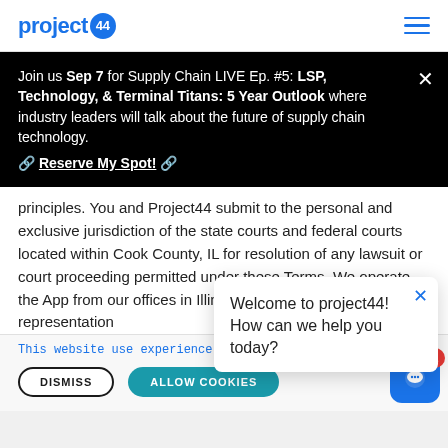project44
Join us Sep 7 for Supply Chain LIVE Ep. #5: LSP, Technology, & Terminal Titans: 5 Year Outlook where industry leaders will talk about the future of supply chain technology. 🔗 Reserve My Spot! 🔗
principles. You and Project44 submit to the personal and exclusive jurisdiction of the state courts and federal courts located within Cook County, IL for resolution of any lawsuit or court proceeding permitted under these Terms. We operate the App from our offices in Illinois, and we make no representation
Welcome to project44! How can we help you today?
This website use experience. Privacy Notice
DISMISS  ALLOW COOKIES